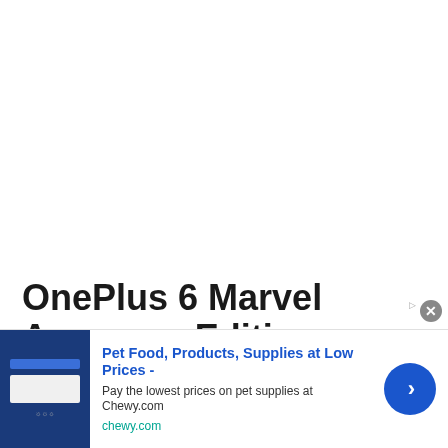OnePlus 6 Marvel Avengers Edition: What's in the box
[Figure (photo): Partial gray image strip at bottom of article area]
Pet Food, Products, Supplies at Low Prices - Pay the lowest prices on pet supplies at Chewy.com chewy.com